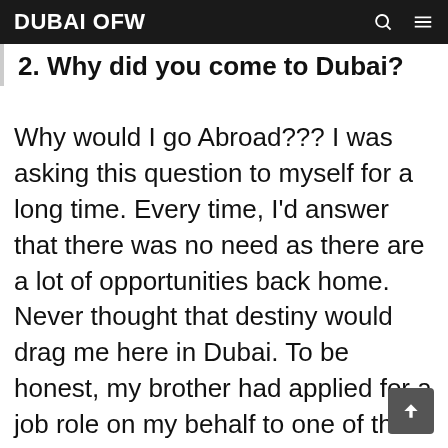DUBAI OFW
2. Why did you come to Dubai?
Why would I go Abroad??? I was asking this question to myself for a long time. Every time, I'd answer that there was no need as there are a lot of opportunities back home. Never thought that destiny would drag me here in Dubai. To be honest, my brother had applied for a job role on my behalf to one of the consultancies in Nepal.